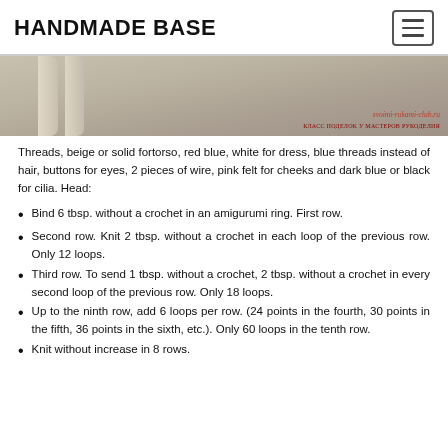HANDMADE BASE
[Figure (photo): Close-up photo of hands holding crocheted amigurumi pieces (likely doll parts), beige/cream colored yarn. Watermark reads 'svoimi-rukami-club.ru / КЛАСС ПОДЕЛОК У МАСТЕРОВ РУКОДЕЛИЯ']
Threads, beige or solid fortorso, red blue, white for dress, blue threads instead of hair, buttons for eyes, 2 pieces of wire, pink felt for cheeks and dark blue or black for cilia. Head:
Bind 6 tbsp. without a crochet in an amigurumi ring. First row.
Second row. Knit 2 tbsp. without a crochet in each loop of the previous row. Only 12 loops.
Third row. To send 1 tbsp. without a crochet, 2 tbsp. without a crochet in every second loop of the previous row. Only 18 loops.
Up to the ninth row, add 6 loops per row. (24 points in the fourth, 30 points in the fifth, 36 points in the sixth, etc.). Only 60 loops in the tenth row.
Knit without increase in 8 rows.